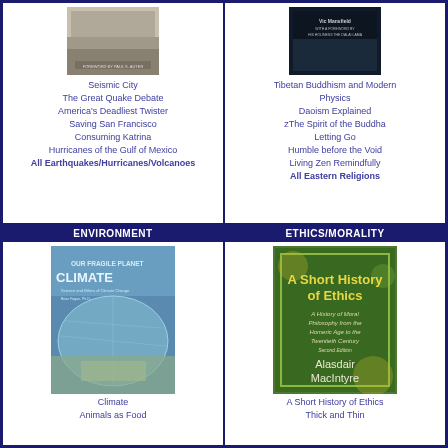[Figure (photo): Book cover - seismic/earthquake topic, grayscale with foreword by Paul S. Auter]
Seismic City
The Great Quake Debate
America's Deadliest Twister
Saving San Francisco
Consuming Katrina
Hurricanes of the Gulf of Mexico
All Earthquakes/Hurricanes/Volcanoes
[Figure (photo): Book cover - Tibetan Buddhism and Modern Physics by Vic Mansfield with foreword by His Holiness The Dalai Lama]
Tibetan Buddhism and Modern Physics
Daoism Explained
zThe Spirit of the Buddha
Letting Go
Humble before the Void
Living Zen Remindfully
All Eastern Religions
ENVIRONMENT
[Figure (photo): Climate book cover - Our Fragile Planet: Climate, Science and Ethics of Climate Change by Brian Fagan Ph.D.]
Climate
Animals as Food
ETHICS/MORALITY
[Figure (photo): A Short History of Ethics - A History of Moral Philosophy from the Homeric Age to the Twentieth Century, Second Edition by Alasdair MacIntyre]
A Short History of Ethics
Thick and Thin